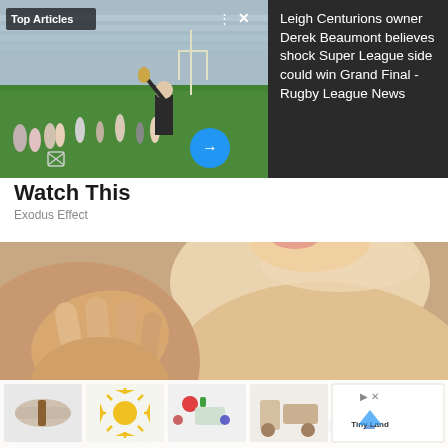[Figure (screenshot): Top Articles news widget showing rugby league celebration image on left, with 'Top Articles' badge, three-dot menu, X close button, mute icon, blue arrow button, and news headline text on right side]
Leigh Centurions owner Derek Beaumont believes shock Super League side could win Grand Final - Rugby League News
Watch This
Exodus Effect
[Figure (photo): Close-up photo of a person's neck/chest area with a hand touching skin near a mole, with an X close button overlay and an advertisement strip at the bottom showing product thumbnails and Tiny Land logo]